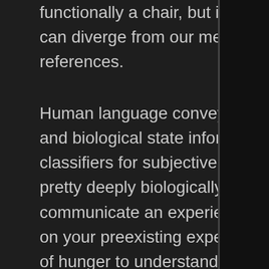functionally a chair, but it illustrates how quickly our queries can diverge from our meaning even for simple object references.
Human language conveys a large component of emotional and biological state information that requires neural classifiers for subjective human experience. Hunger is a pretty deeply biologically associated word. For me to communicate an experience involving hunger, I have to rely on your preexisting experiences and resulting classification of hunger to understand.
What if I wanted to say the same thing to a hypothetical incorporeal being who has never experienced hunger?  I guess I could get into cellular activity and hormone production or whatever chemical process actually creates the state that I experience as hungar. That sort of brings us to that Alice the color scientist